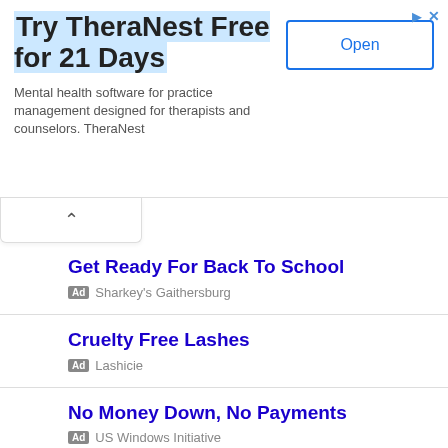[Figure (screenshot): Advertisement banner for TheraNest with title 'Try TheraNest Free for 21 Days', description text, and Open button]
Get Ready For Back To School
Ad Sharkey's Gaithersburg
Cruelty Free Lashes
Ad Lashicie
No Money Down, No Payments
Ad US Windows Initiative
Watch Full Movies
Ad yidio.com
Who Is Jesus Christ?